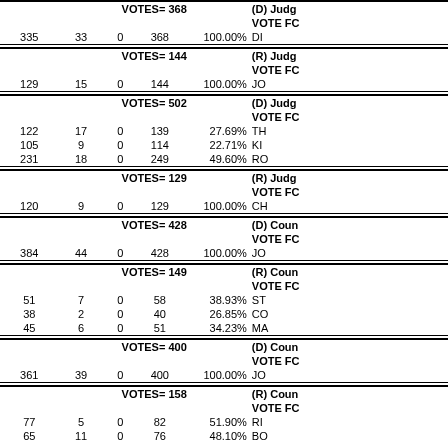| Col1 | Col2 | Col3 | Total | Pct | Candidate |
| --- | --- | --- | --- | --- | --- |
| VOTES= 368 |  |  |  |  | (D) Judge / VOTE FC |
| 335 | 33 | 0 | 368 | 100.00% | DI |
| VOTES= 144 |  |  |  |  | (R) Judge / VOTE FC |
| 129 | 15 | 0 | 144 | 100.00% | JO |
| VOTES= 502 |  |  |  |  | (D) Judge / VOTE FC |
| 122 | 17 | 0 | 139 | 27.69% | TH |
| 105 | 9 | 0 | 114 | 22.71% | KI |
| 231 | 18 | 0 | 249 | 49.60% | RO |
| VOTES= 129 |  |  |  |  | (R) Judge / VOTE FC |
| 120 | 9 | 0 | 129 | 100.00% | CH |
| VOTES= 428 |  |  |  |  | (D) Coun / VOTE FC |
| 384 | 44 | 0 | 428 | 100.00% | JO |
| VOTES= 149 |  |  |  |  | (R) Coun / VOTE FC |
| 51 | 7 | 0 | 58 | 38.93% | ST |
| 38 | 2 | 0 | 40 | 26.85% | CO |
| 45 | 6 | 0 | 51 | 34.23% | MA |
| VOTES= 400 |  |  |  |  | (D) Coun / VOTE FC |
| 361 | 39 | 0 | 400 | 100.00% | JO |
| VOTES= 158 |  |  |  |  | (R) Coun / VOTE FC |
| 77 | 5 | 0 | 82 | 51.90% | RI |
| 65 | 11 | 0 | 76 | 48.10% | BO |